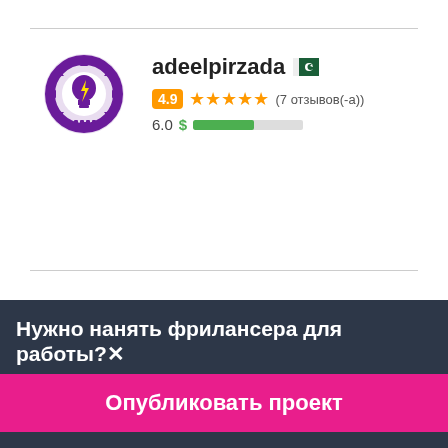adeelpirzada
4.9 ★★★★★ (7 отзывов(-а))
6.0 $
simk33
4.8 ★★★★★ (44 отзывов(-а))
Нужно нанять фрилансера для работы?✕
Опубликовать проект